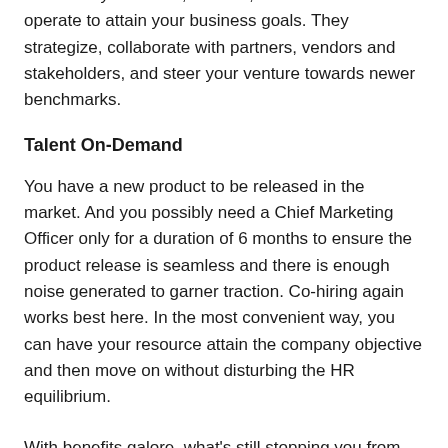believe in your vision, mission, work culture and operate to attain your business goals. They strategize, collaborate with partners, vendors and stakeholders, and steer your venture towards newer benchmarks.
Talent On-Demand
You have a new product to be released in the market. And you possibly need a Chief Marketing Officer only for a duration of 6 months to ensure the product release is seamless and there is enough noise generated to garner traction. Co-hiring again works best here. In the most convenient way, you can have your resource attain the company objective and then move on without disturbing the HR equilibrium.
With benefits galore, what's still stopping you from leveraging the co-hire model ?